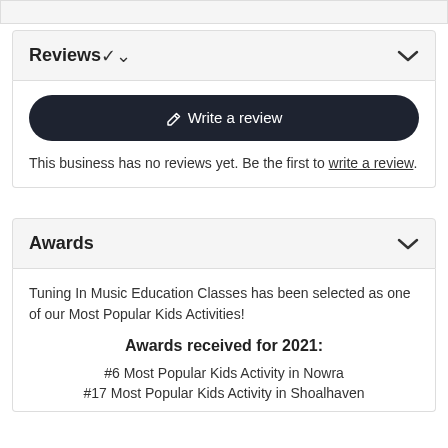Reviews
[Figure (screenshot): Write a review button - dark rounded pill button with pencil icon]
This business has no reviews yet. Be the first to write a review.
Awards
Tuning In Music Education Classes has been selected as one of our Most Popular Kids Activities!
Awards received for 2021:
#6 Most Popular Kids Activity in Nowra
#17 Most Popular Kids Activity in Shoalhaven